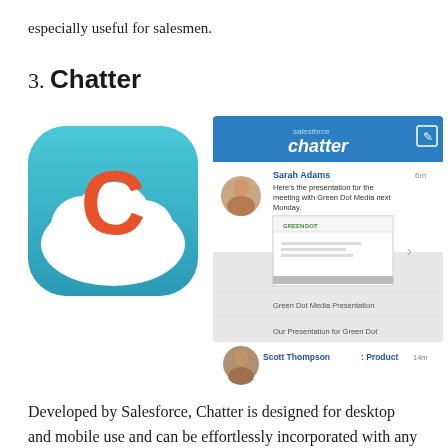especially useful for salesmen.
3. Chatter
[Figure (screenshot): Chatter app icon (blue rounded square with white cloud and orange letter C) on left, and Chatter mobile app screenshot on right showing Salesforce Chatter interface with posts from Sarah Adams and Scott Thompson]
Developed by Salesforce, Chatter is designed for desktop and mobile use and can be effortlessly incorporated with any social